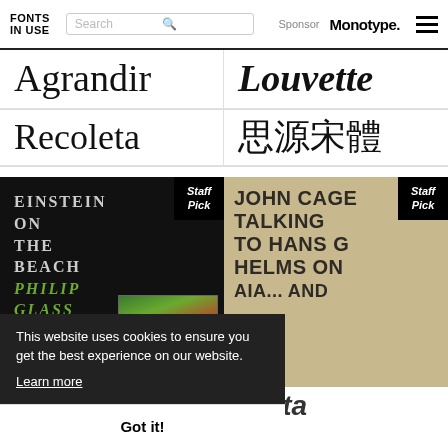FONTS IN USE | Search | Sponsor Monotype.
Agrandir
Louvette
Recoleta
思源宋體
[Figure (photo): Album cover for Einstein on the Beach by Philip Glass and Robert Wilson, dark background with colorful landscape painting thumbnail, Staff Pick badge]
[Figure (photo): Book/cassette cover: John Cage Talking to Hans G Helms On..., beige/tan background with bold dark condensed text, Staff Pick badge]
bacta
Pelera
This website uses cookies to ensure you get the best experience on our website. Learn more
Got it!